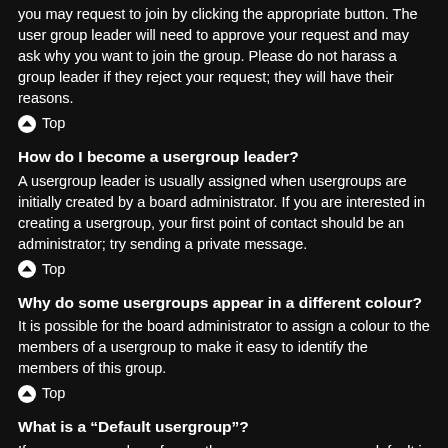you may request to join by clicking the appropriate button. The user group leader will need to approve your request and may ask why you want to join the group. Please do not harass a group leader if they reject your request; they will have their reasons.
Top
How do I become a usergroup leader?
A usergroup leader is usually assigned when usergroups are initially created by a board administrator. If you are interested in creating a usergroup, your first point of contact should be an administrator; try sending a private message.
Top
Why do some usergroups appear in a different colour?
It is possible for the board administrator to assign a colour to the members of a usergroup to make it easy to identify the members of this group.
Top
What is a “Default usergroup”?
If you are a member of more than one usergroup, your default is used to determine which group colour and group rank should be shown for you by default. The board